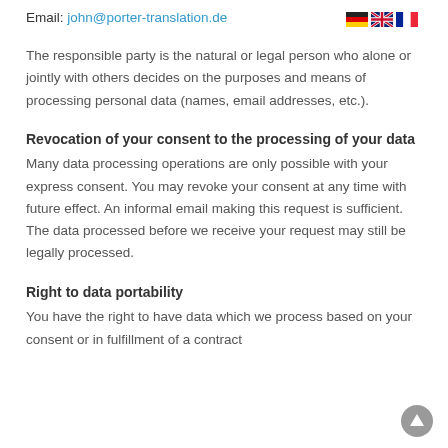Email: john@porter-translation.de
The responsible party is the natural or legal person who alone or jointly with others decides on the purposes and means of processing personal data (names, email addresses, etc.).
Revocation of your consent to the processing of your data
Many data processing operations are only possible with your express consent. You may revoke your consent at any time with future effect. An informal email making this request is sufficient. The data processed before we receive your request may still be legally processed.
Right to data portability
You have the right to have data which we process based on your consent or in fulfillment of a contract